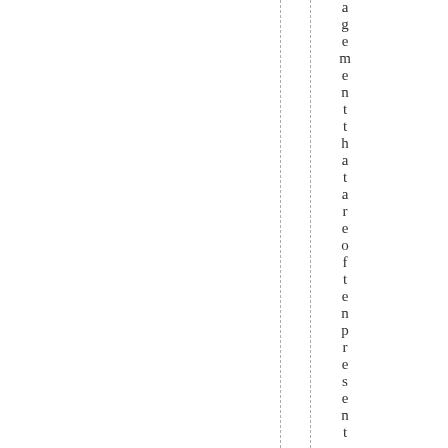agreement that are often present .or e